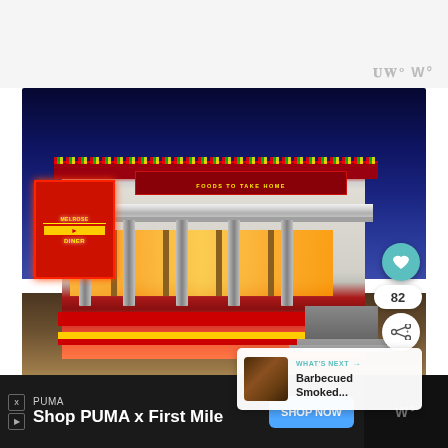[Figure (photo): Exterior photo of Melrose Diner at dusk/night. A classic American diner with chrome/silver siding, red and yellow neon signs, glowing windows. Sign reads 'MELROSE DINER' and 'FOODS TO TAKE HOME'. Blue twilight sky in background. UI overlays include heart button, share button, count of 82, and a 'WHAT'S NEXT' card showing 'Barbecued Smoked...']
WHAT'S NEXT → Barbecued Smoked...
82
PUMA
Shop PUMA x First Mile
SHOP NOW